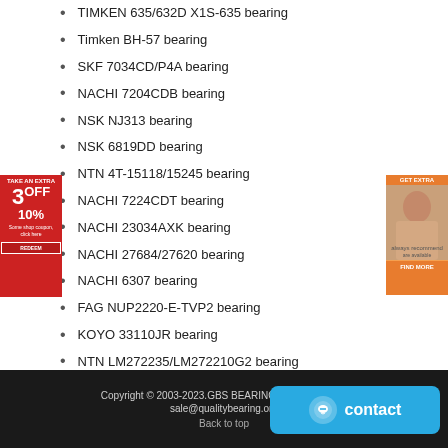TIMKEN 635/632D X1S-635 bearing
Timken BH-57 bearing
SKF 7034CD/P4A bearing
NACHI 7204CDB bearing
NSK NJ313 bearing
NSK 6819DD bearing
NTN 4T-15118/15245 bearing
NACHI 7224CDT bearing
NACHI 23034AXK bearing
NACHI 27684/27620 bearing
NACHI 6307 bearing
FAG NUP2220-E-TVP2 bearing
KOYO 33110JR bearing
NTN LM272235/LM272210G2 bearing
NSK 85BER19XE bearing
SKF W638/5-2Z bearing
FAG HC7007-E-T-P4S bearing
Copyright © 2003-2023.GBS BEARING All rights reserved. sale@qualitybearing.org Back to top